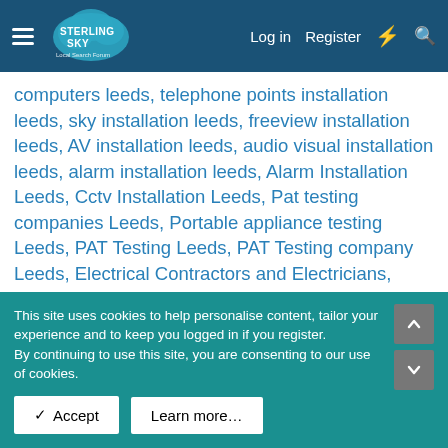Sterling Sky Local Search Forum — Log in | Register
computers leeds, telephone points installation leeds, sky installation leeds, freeview installation leeds, AV installation leeds, audio visual installation leeds, alarm installation leeds, Alarm Installation Leeds, Cctv Installation Leeds, Pat testing companies Leeds, Portable appliance testing Leeds, PAT Testing Leeds, PAT Testing company Leeds, Electrical Contractors and Electricians, Satellite and Cable Television Sales and Installation Service, CAT5 data cable installation and computer networking leeds, internet installation leeds, Audio visual installation leeds, freesat installation leeds, freeview installation leeds, sky installation leeds, multi room av installation leeds, Audio Visual Equipment Supplier, CCTV Equipment and Services, Home Cinema Installation, Security
This site uses cookies to help personalise content, tailor your experience and to keep you logged in if you register.
By continuing to use this site, you are consenting to our use of cookies.
✓ Accept
Learn more…